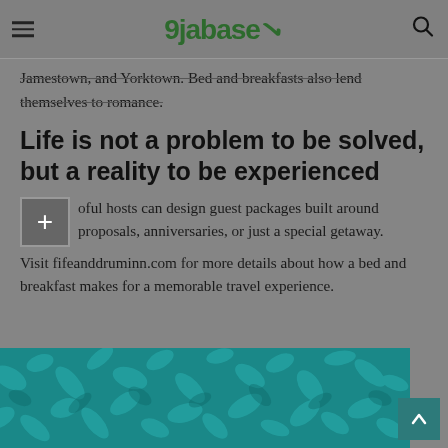9jabase
Jamestown, and Yorktown. Bed and breakfasts also lend themselves to romance.
Life is not a problem to be solved, but a reality to be experienced
ful hosts can design guest packages built around proposals, anniversaries, or just a special getaway. Visit fifeanddruminn.com for more details about how a bed and breakfast makes for a memorable travel experience.
[Figure (photo): Teal decorative pattern background image at bottom of page]